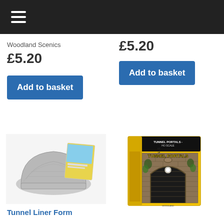☰ (navigation menu)
Woodland Scenics
£5.20
£5.20
Add to basket
Add to basket
[Figure (photo): Tunnel Liner Form product — grey stone-textured curved liner with product packaging card behind it]
[Figure (photo): Tunnel Portals product box in yellow packaging showing a brick tunnel portal with arched entrance]
Tunnel Liner Form